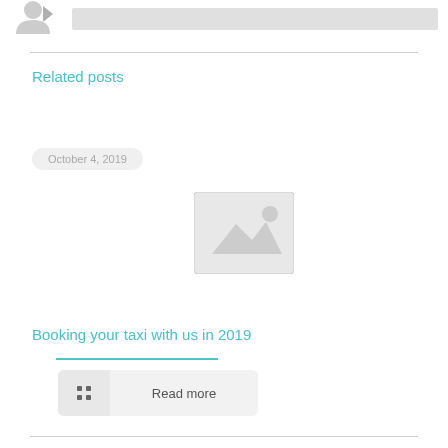[Figure (illustration): User avatar placeholder icon (silhouette of a person) and a grey bar beside it at the top of the page]
Related posts
October 4, 2019
[Figure (illustration): Image placeholder icon showing a mountain/landscape symbol inside a light grey rounded rectangle]
Booking your taxi with us in 2019
Read more